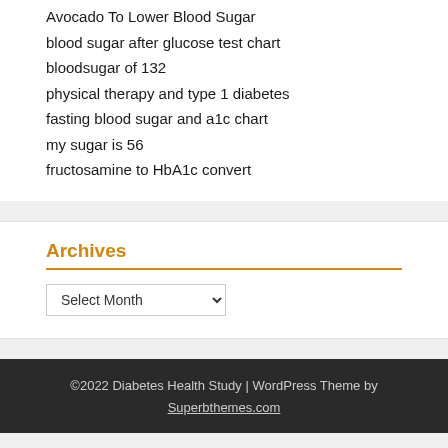Avocado To Lower Blood Sugar
blood sugar after glucose test chart
bloodsugar of 132
physical therapy and type 1 diabetes
fasting blood sugar and a1c chart
my sugar is 56
fructosamine to HbA1c convert
Archives
©2022 Diabetes Health Study | WordPress Theme by Superbthemes.com